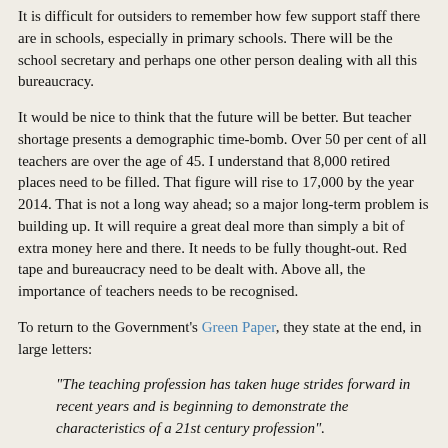It is difficult for outsiders to remember how few support staff there are in schools, especially in primary schools. There will be the school secretary and perhaps one other person dealing with all this bureaucracy.
It would be nice to think that the future will be better. But teacher shortage presents a demographic time-bomb. Over 50 per cent of all teachers are over the age of 45. I understand that 8,000 retired places need to be filled. That figure will rise to 17,000 by the year 2014. That is not a long way ahead; so a major long-term problem is building up. It will require a great deal more than simply a bit of extra money here and there. It needs to be fully thought-out. Red tape and bureaucracy need to be dealt with. Above all, the importance of teachers needs to be recognised.
To return to the Government's Green Paper, they state at the end, in large letters:
"The teaching profession has taken huge strides forward in recent years and is beginning to demonstrate the characteristics of a 21st century profession".
It would be difficult to find a more patronising or condescending comment. It is a classic example of "New Labour, new speak". There